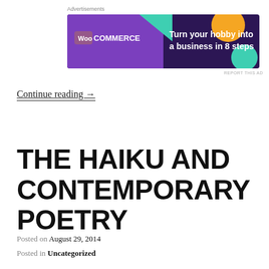Advertisements
[Figure (screenshot): WooCommerce advertisement banner with dark purple background, teal and orange geometric shapes, WooCommerce logo in white on purple, text reading 'Turn your hobby into a business in 8 steps']
REPORT THIS AD
Continue reading →
THE HAIKU AND CONTEMPORARY POETRY
Posted on August 29, 2014
Posted in Uncategorized